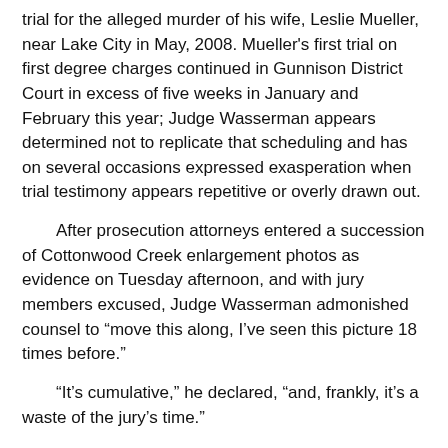trial for the alleged murder of his wife, Leslie Mueller, near Lake City in May, 2008. Mueller's first trial on first degree charges continued in Gunnison District Court in excess of five weeks in January and February this year; Judge Wasserman appears determined not to replicate that scheduling and has on several occasions expressed exasperation when trial testimony appears repetitive or overly drawn out.
After prosecution attorneys entered a succession of Cottonwood Creek enlargement photos as evidence on Tuesday afternoon, and with jury members excused, Judge Wasserman admonished counsel to “move this along, I’ve seen this picture 18 times before.”
“It’s cumulative,” he declared, “and, frankly, it’s a waste of the jury’s time.”
As a further divergence from Mueller’s first trial in Gunnison earlier this year and his second trial now taking place in Broomfield, Judge Wasserman cited the trial’s “complexity” in explaining why questions from the jury will not be allowed. At earlier deliberations in Gunnison, jury members were allowed to submit written questions at the